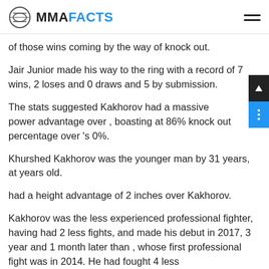MMA FACTS
of those wins coming by the way of knock out.
Jair Junior made his way to the ring with a record of 7 wins, 2 loses and 0 draws and 5 by submission.
The stats suggested Kakhorov had a massive power advantage over , boasting at 86% knock out percentage over 's 0%.
Khurshed Kakhorov was the younger man by 31 years, at years old.
had a height advantage of 2 inches over Kakhorov.
Kakhorov was the less experienced professional fighter, having had 2 less fights, and made his debut in 2017, 3 year and 1 month later than , whose first professional fight was in 2014. He had fought 4 less